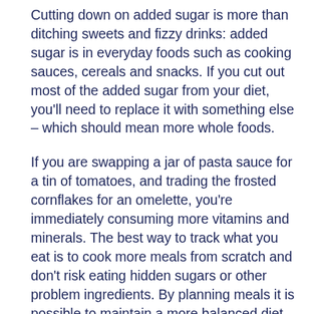Cutting down on added sugar is more than ditching sweets and fizzy drinks: added sugar is in everyday foods such as cooking sauces, cereals and snacks. If you cut out most of the added sugar from your diet, you'll need to replace it with something else – which should mean more whole foods.
If you are swapping a jar of pasta sauce for a tin of tomatoes, and trading the frosted cornflakes for an omelette, you're immediately consuming more vitamins and minerals. The best way to track what you eat is to cook more meals from scratch and don't risk eating hidden sugars or other problem ingredients. By planning meals it is possible to maintain a more balanced diet and include the nutrients that your body needs to stay healthy.